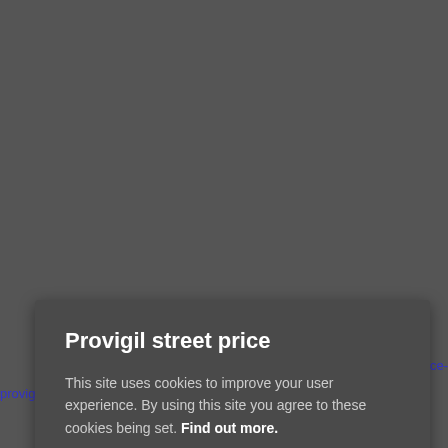http://flightengineservices.com/cash-price-provigil/
Provigil street price
This site uses cookies to improve your user experience. By using this site you agree to these cookies being set. Find out more.
Okay, thanks